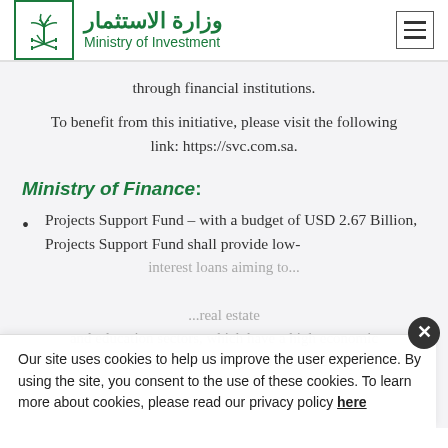وزارة الاستثمار Ministry of Investment
through financial institutions.
To benefit from this initiative, please visit the following link: https://svc.com.sa.
Ministry of Finance:
Projects Support Fund – with a budget of USD 2.67 Billion, Projects Support Fund shall provide low-interest loans aiming to...
...real estate and education sectors, which have a high economic return to ensure continuity and completion of
Our site uses cookies to help us improve the user experience. By using the site, you consent to the use of these cookies. To learn more about cookies, please read our privacy policy here